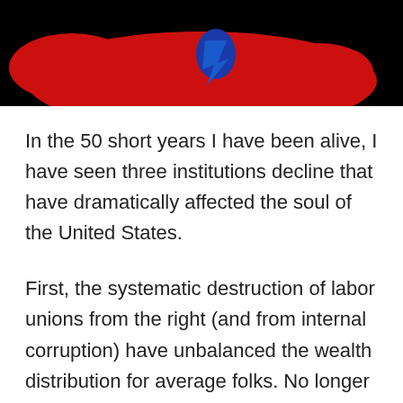[Figure (illustration): Partial view of a red and blue illustrated shape (possibly a logo or character) on a black background, cropped at the top of the page.]
In the 50 short years I have been alive, I have seen three institutions decline that have dramatically affected the soul of the United States.
First, the systematic destruction of labor unions from the right (and from internal corruption) have unbalanced the wealth distribution for average folks. No longer can you live a middle class lifestyle through a blue collar work style. Long gone are the days of